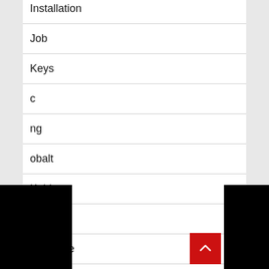Installation
Job
Keys
c
ng
obalt
Kohl
Kroger
Laminate